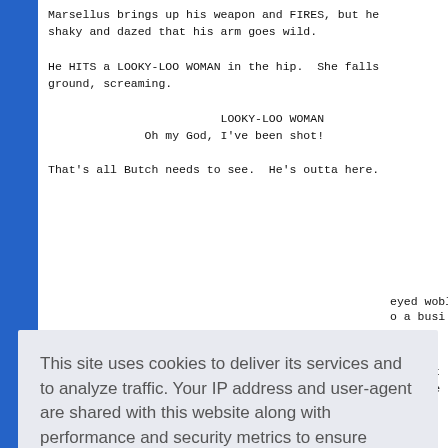Marsellus brings up his weapon and FIRES, but he's shaky and dazed that his arm goes wild.

He HITS a LOOKY-LOO WOMAN in the hip.  She falls to the ground, screaming.

                    LOOKY-LOO WOMAN
               Oh my God, I've been shot!

That's all Butch needs to see.  He's outta here.
...eyed wobl...
...o a busi...
...behind t...
...s in the...
Can I help you wit  somethin'?
This site uses cookies to deliver its services and to analyze traffic. Your IP address and user-agent are shared with this website along with performance and security metrics to ensure quality of service, generate usage statistics, and to detect and address abuse.
Learn more
[Got it!]